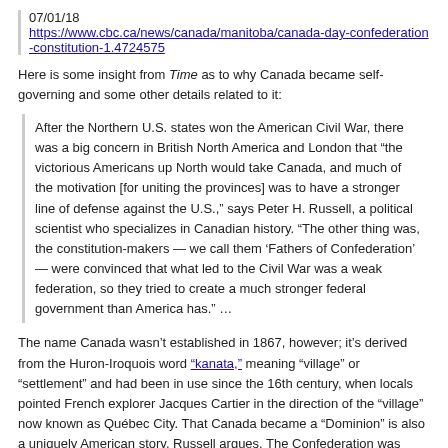07/01/18 https://www.cbc.ca/news/canada/manitoba/canada-day-confederation-constitution-1.4724575
Here is some insight from Time as to why Canada became self-governing and some other details related to it:
After the Northern U.S. states won the American Civil War, there was a big concern in British North America and London that “the victorious Americans up North would take Canada, and much of the motivation [for uniting the provinces] was to have a stronger line of defense against the U.S.,” says Peter H. Russell, a political scientist who specializes in Canadian history. “The other thing was, the constitution-makers — we call them ‘Fathers of Confederation’ — were convinced that what led to the Civil War was a weak federation, so they tried to create a much stronger federal government than America has.” …
The name Canada wasn’t established in 1867, however; it’s derived from the Huron-Iroquois word “kanata,” meaning “village” or “settlement” and had been in use since the 16th century, when locals pointed French explorer Jacques Cartier in the direction of the “village” now known as Québec City. That Canada became a “Dominion” is also a uniquely American story, Russell argues. The Confederation was originally to be named a “kingdom” of Canada until “the British foreign office said, ‘The Americans won’t like a kingdom on their border, call it something else, or we’re going to have bad relations with the Americans.’”
Leonard Tilley, one of the Fathers of Confederation, was inspired to